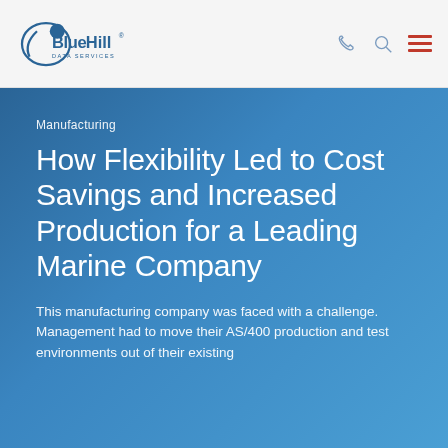Blue Hill Data Services
Manufacturing
How Flexibility Led to Cost Savings and Increased Production for a Leading Marine Company
This manufacturing company was faced with a challenge. Management had to move their AS/400 production and test environments out of their existing